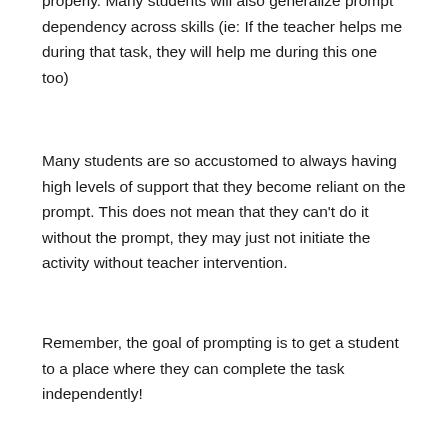properly. Many students will also generalize prompt dependency across skills (ie: If the teacher helps me during that task, they will help me during this one too)
Many students are so accustomed to always having high levels of support that they become reliant on the prompt. This does not mean that they can't do it without the prompt, they may just not initiate the activity without teacher intervention.
Remember, the goal of prompting is to get a student to a place where they can complete the task independently!